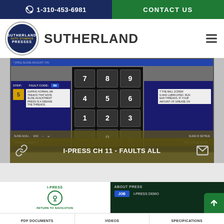1-310-453-6981 | CONTACT US
[Figure (logo): Sutherland Auto Stamper Presses circular logo with brand name SUTHERLAND]
[Figure (screenshot): Screenshot of I-PRESS control panel showing slide adjustment screen with numeric keypad overlay, fault code 89, step 5, and maintenance instructions about ball screw threads and grease]
I-PRESS CH 11 - FAULTS ALL
[Figure (screenshot): Bottom navigation showing I-PRESS section with return to navigation icon, and ABOUT PRESS section with JOB and I-PRESS DEMO buttons]
PDF DOCUMENTS | VIDEOS | SPECIFICATIONS